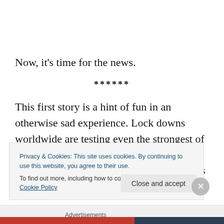Now, it's time for the news.
******
This first story is a hint of fun in an otherwise sad experience. Lock downs worldwide are testing even the strongest of us. If you must get caught breaking the rules, though, it's best to have the enforcers come dressed as
Privacy & Cookies: This site uses cookies. By continuing to use this website, you agree to their use.
To find out more, including how to control cookies, see here: Cookie Policy
Close and accept
Advertisements